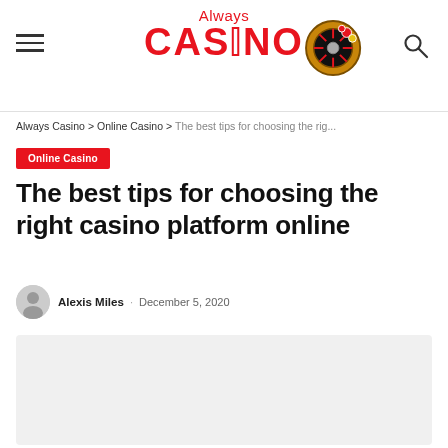Always Casino
Always Casino > Online Casino > The best tips for choosing the rig...
Online Casino
The best tips for choosing the right casino platform online
Alexis Miles · December 5, 2020
[Figure (photo): Featured article image placeholder (light gray rectangle)]